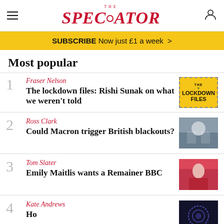THE SPECTATOR
SUBSCRIBE Now just £1 a week >
Most popular
1 Fraser Nelson — The lockdown files: Rishi Sunak on what we weren't told
2 Ross Clark — Could Macron trigger British blackouts?
3 Tom Slater — Emily Maitlis wants a Remainer BBC
4 Kate Andrews — How high will energy prices go?